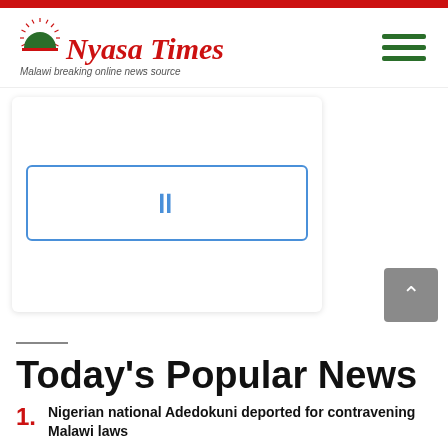Nyasa Times — Malawi breaking online news source
[Figure (screenshot): Embedded media player placeholder with blue border and pause icon]
Today's Popular News
1. Nigerian national Adedokuni deported for contravening Malawi laws
2. (partially visible)